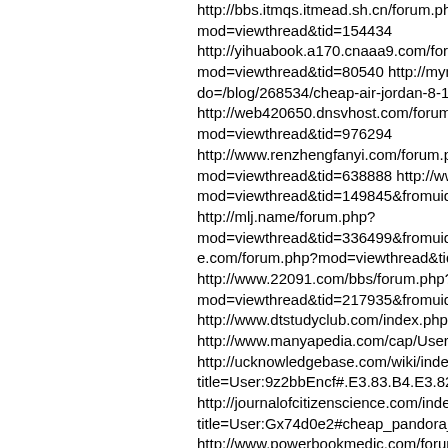http://bbs.itmqs.itmead.sh.cn/forum.php?mod=viewthread&tid=154434 http://yihuabook.a170.cnaaa9.com/forum.php?mod=viewthread&tid=80540 http://mynalgonda.com/index.php?do=/blog/268534/cheap-air-jordan-8-150w2c7-bt-as-a-e-of-thmb http://web420650.dnsvhost.com/forum.php?mod=viewthread&tid=976294 http://www.renzhengfanyi.com/forum.php?mod=viewthread&tid=638888 http://www.halianshui.com/forum.php?mod=viewthread&tid=149845&fromuid=346157 http://mlj.name/forum.php?mod=viewthread&tid=336499&fromuid=153062 http://www.briske.com/forum.php?mod=viewthread&tid=331565&fromuid=21144 http://www.22091.com/bbs/forum.php?mod=viewthread&tid=217935&fromuid=13817 http://www.dtstudyclub.com/index.php?do=/blog/add/ http://www.manyapedia.com/cap/User:Uxr628h5#.E3.83.AB.E3. http://ucknowledgebase.com/wiki/index.php?title=User:9z2bbEncf#.E3.83.B4.E3.82.A3.E3.83.88.E3.83.B3_5 http://journalofcitizenscience.com/index.php?title=User:Gx74d0e2#cheap_pandora_uk_219v0A5 http://www.powerbookmedic.com/forum/viewforum.php?f=5 http://forum.ty528.cn/showtopic-870778.aspx http://www.nizhangwenjun.com/Review.asp?NewsID=203396/